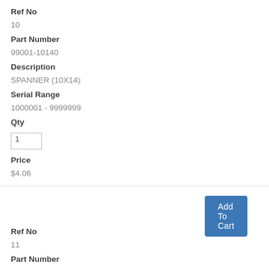Ref No
10
Part Number
99001-10140
Description
SPANNER (10X14)
Serial Range
1000001 - 9999999
Qty
1
Price
$4.06
Add To Cart
Ref No
11
Part Number
99001-17190
Description
SPANNER (17X19)